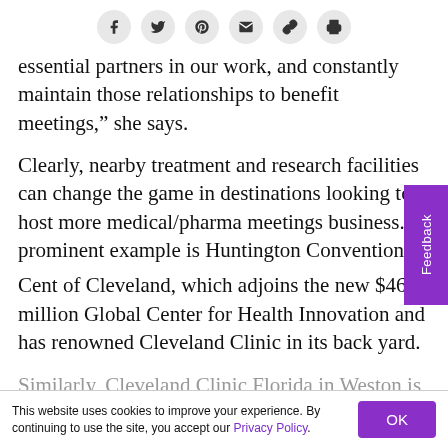[Figure (other): Social sharing icon bar with Facebook, Twitter, Pinterest, email, link, and print icons]
essential partners in our work, and constantly maintain those relationships to benefit meetings,” she says.
Clearly, nearby treatment and research facilities can change the game in destinations looking to host more medical/pharma meetings business. A prominent example is Huntington Convention Center of Cleveland, which adjoins the new $465 million Global Center for Health Innovation and has renowned Cleveland Clinic in its back yard.
Similarly, Cleveland Clinic Florida in Weston is a boon
This website uses cookies to improve your experience. By continuing to use the site, you accept our Privacy Policy.